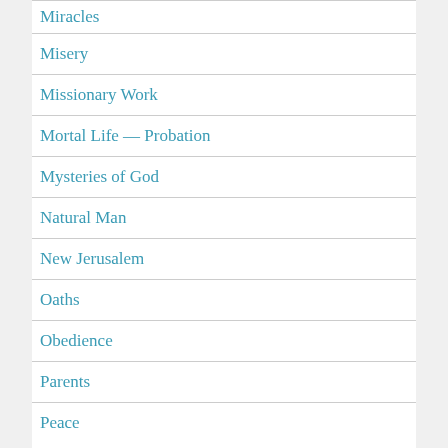Miracles
Misery
Missionary Work
Mortal Life — Probation
Mysteries of God
Natural Man
New Jerusalem
Oaths
Obedience
Parents
Peace